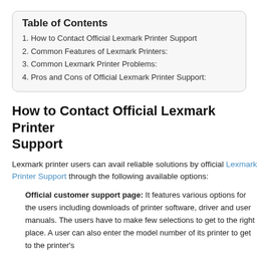Table of Contents
1. How to Contact Official Lexmark Printer Support
2. Common Features of Lexmark Printers:
3. Common Lexmark Printer Problems:
4. Pros and Cons of Official Lexmark Printer Support:
How to Contact Official Lexmark Printer Support
Lexmark printer users can avail reliable solutions by official Lexmark Printer Support through the following available options:
Official customer support page: It features various options for the users including downloads of printer software, driver and user manuals. The users have to make few selections to get to the right place. A user can also enter the model number of its printer to get to the printer's